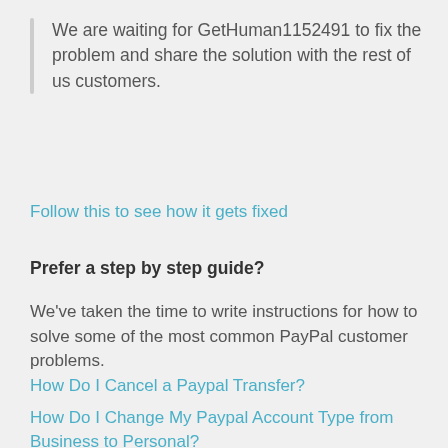We are waiting for GetHuman1152491 to fix the problem and share the solution with the rest of us customers.
Follow this to see how it gets fixed
Prefer a step by step guide?
We've taken the time to write instructions for how to solve some of the most common PayPal customer problems.
How Do I Cancel a Paypal Transfer?
How Do I Change My Paypal Account Type from Business to Personal?